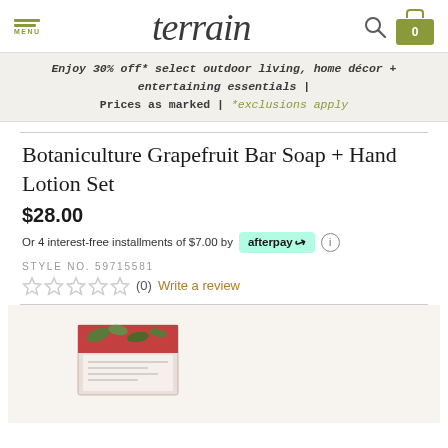terrain — MENU | search | cart (0)
Enjoy 30% off* select outdoor living, home décor + entertaining essentials | Prices as marked | *exclusions apply
Botaniculture Grapefruit Bar Soap + Hand Lotion Set
$28.00
Or 4 interest-free installments of $7.00 by afterpay (0)
STYLE NO. 59715581
★★★★★ (0) Write a review
[Figure (photo): Product image showing Botaniculture Grapefruit Bar Soap and Hand Lotion Set packaging on a light beige background]